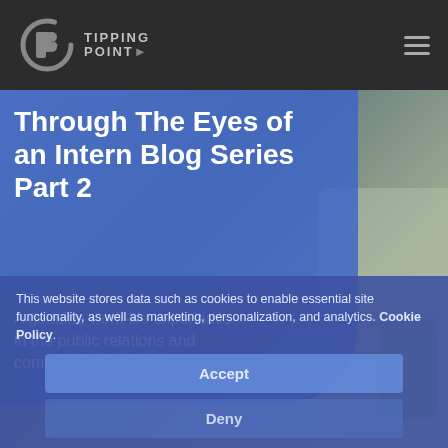TIPPING POINT
[Figure (photo): Background photo of an office/building interior with people, overlaid with a blue semi-transparent card.]
Through The Eyes of an Intern Blog Series Part 2
A genuine work-life experience in the public relations and communications field.
This website stores data such as cookies to enable essential site functionality, as well as marketing, personalization, and analytics. Cookie Policy.
Accept
Deny